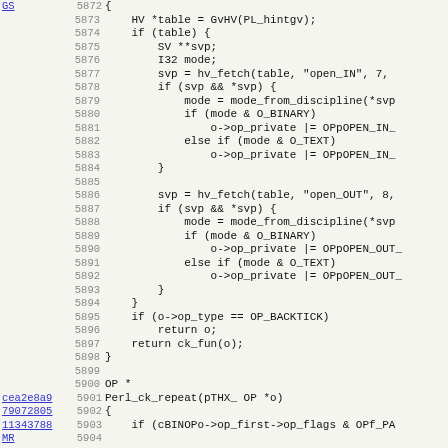Source code viewer showing lines 5872-5904 of a C/Perl source file, with line numbers, commit hashes in the gutter, and code content including HV table lookup, hv_fetch calls, mode_from_discipline, op_private assignments, and Perl_ck_repeat function definition.